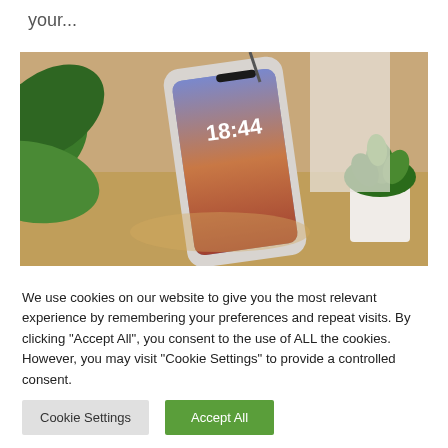your...
[Figure (photo): A smartphone displaying a lock screen showing time 18:44, propped on a wooden desk surface, with green plant leaves on the left and a small succulent in a white pot on the right.]
We use cookies on our website to give you the most relevant experience by remembering your preferences and repeat visits. By clicking "Accept All", you consent to the use of ALL the cookies. However, you may visit "Cookie Settings" to provide a controlled consent.
Cookie Settings | Accept All